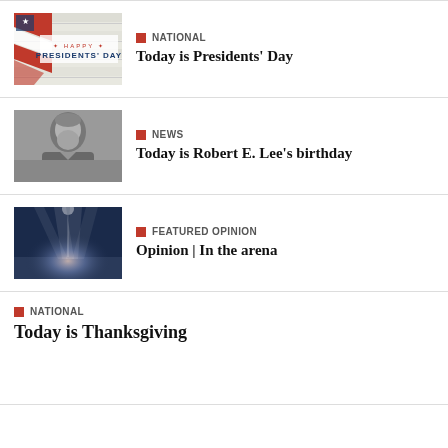[Figure (photo): Happy Presidents' Day image with American flag and text]
NATIONAL
Today is Presidents' Day
[Figure (photo): Black and white portrait of Robert E. Lee]
NEWS
Today is Robert E. Lee's birthday
[Figure (photo): Arena interior with spotlights and blue lighting]
FEATURED OPINION
Opinion | In the arena
NATIONAL
Today is Thanksgiving